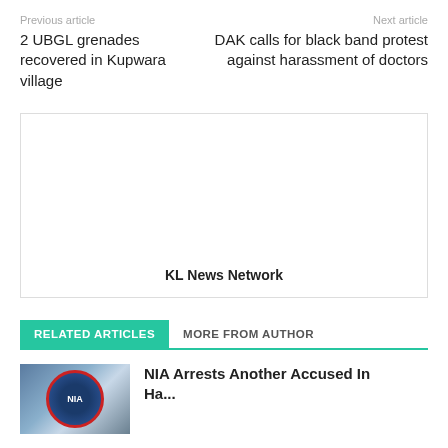Previous article | Next article
2 UBGL grenades recovered in Kupwara village
DAK calls for black band protest against harassment of doctors
[Figure (other): Advertisement box with KL News Network label]
RELATED ARTICLES
MORE FROM AUTHOR
NIA Arrests Another Accused In